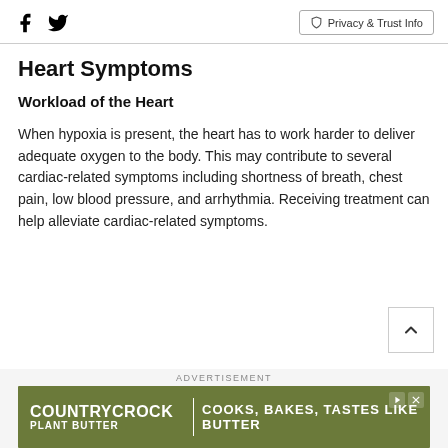Facebook Twitter | Privacy & Trust Info
Heart Symptoms
Workload of the Heart
When hypoxia is present, the heart has to work harder to deliver adequate oxygen to the body. This may contribute to several cardiac-related symptoms including shortness of breath, chest pain, low blood pressure, and arrhythmia. Receiving treatment can help alleviate cardiac-related symptoms.
[Figure (other): Scroll to top button with upward chevron arrow]
ADVERTISEMENT
[Figure (other): Country Crock Plant Butter advertisement banner: COOKS, BAKES, TASTES LIKE BUTTER]